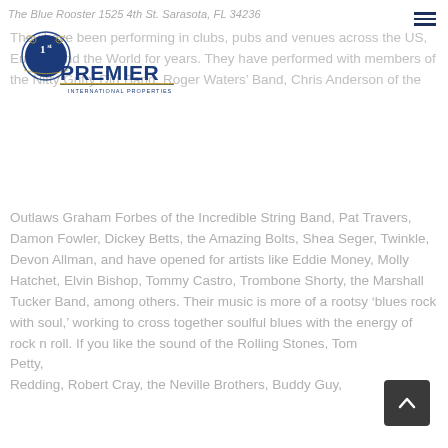The Blue Rooster 1525 4th St. Sarasota, FL 34236
[Figure (logo): 1st Premier International Properties logo with circular badge and text]
They have been performing in clubs, pubs and venues across the US, Europe and the World for years. They have performed with members of the Nitty Gritty Dirt Band, Roger Waters' Band, Chris Anderson of the Outlaws Graham Forbes of the Incredible String Band, Pat Travers, Damon Fowler, Dickey Betts, the Amazing Bolts, Shea Seger, Twinkle, Devon Allman, and have opened for artists like Eddie Money, Molly Hatchet, Elvin Bishop, Tommy Castro, Trombone Shorty, the Marshall Tucker Band, among others. Their music is more of a rootsy ‘blues rock with soul,’ working to cross together soulful blues with the energy of rock n roll. If you like the sound of the Rolling Stones, Tom Petty, Redding, Robert Cray, the Neville Brothers, Buddy Guy,